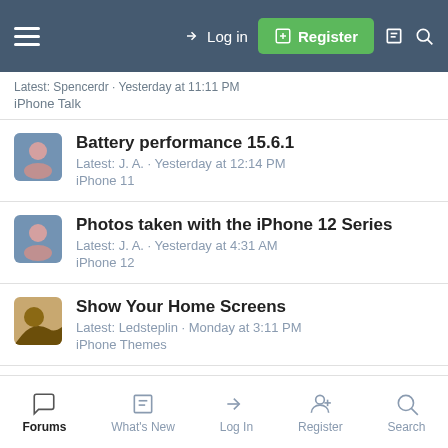Login | Register
Latest: Spencerdr · Yesterday at 11:11 PM
iPhone Talk
Battery performance 15.6.1
Latest: J. A. · Yesterday at 12:14 PM
iPhone 11
Photos taken with the iPhone 12 Series
Latest: J. A. · Yesterday at 4:31 AM
iPhone 12
Show Your Home Screens
Latest: Ledsteplin · Monday at 3:11 PM
iPhone Themes
Post your lock screens!
Latest: Ledsteplin · Monday at 1:26 PM
iPhone Talk
Forums | What's New | Log In | Register | Search